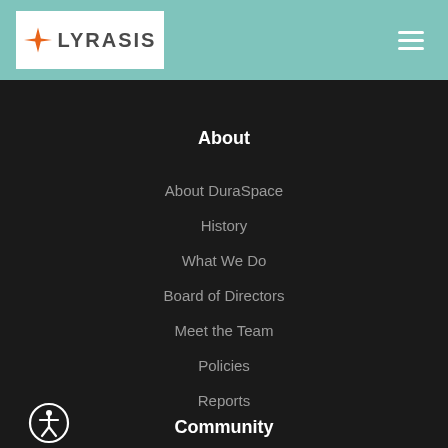[Figure (logo): LYRASIS logo with orange four-pointed star on white background in teal header bar]
About
About DuraSpace
History
What We Do
Board of Directors
Meet the Team
Policies
Reports
[Figure (illustration): Accessibility icon - person in circle outline]
Community